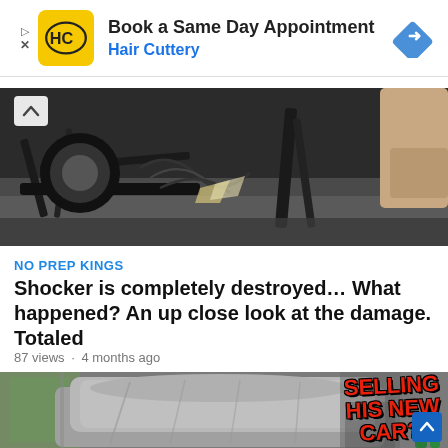[Figure (infographic): Hair Cuttery advertisement banner with yellow logo, text 'Book a Same Day Appointment / Hair Cuttery', and a blue diamond navigation arrow icon]
[Figure (photo): A destroyed/crashed race car chassis on the ground, close-up showing frame damage, wires, and mechanical parts. A person's hand is visible on the right.]
NO PREP KINGS
Shocker is completely destroyed… What happened? An up close look at the damage. Totaled
87 views · 4 months ago
[Figure (photo): A grey-covered car inside a garage. Red bold text overlay reads 'SELLING HIS NEW CAR?!' A blue scroll-to-top button is in the bottom right corner.]